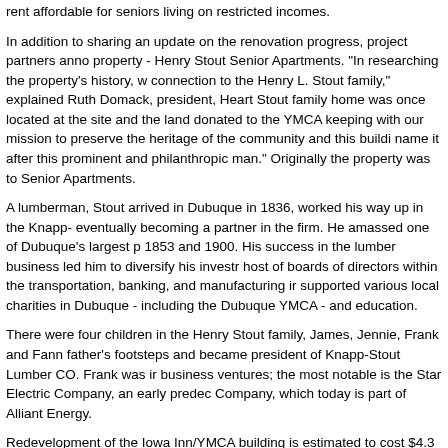rent affordable for seniors living on restricted incomes.
In addition to sharing an update on the renovation progress, project partners anno property - Henry Stout Senior Apartments. "In researching the property's history, w connection to the Henry L. Stout family," explained Ruth Domack, president, Heart Stout family home was once located at the site and the land donated to the YMCA keeping with our mission to preserve the heritage of the community and this buildi name it after this prominent and philanthropic man." Originally the property was to Senior Apartments.
A lumberman, Stout arrived in Dubuque in 1836, worked his way up in the Knapp- eventually becoming a partner in the firm. He amassed one of Dubuque's largest p 1853 and 1900. His success in the lumber business led him to diversify his investr host of boards of directors within the transportation, banking, and manufacturing ir supported various local charities in Dubuque - including the Dubuque YMCA - and education.
There were four children in the Henry Stout family, James, Jennie, Frank and Fann father's footsteps and became president of Knapp-Stout Lumber CO. Frank was ir business ventures; the most notable is the Star Electric Company, an early predec Company, which today is part of Alliant Energy.
Redevelopment of the Iowa Inn/YMCA building is estimated to cost $4.3 million. Th possible through a $3.5 million investment by Alliant Energy Resources through its subsidiary, Heartland Properties, Inc. Additional financial support is being provided Iowa Finance Authority and other federal sources.
"We're proud of this important investment in the Dubuque community," added Dom for affordable senior housing in our country is undeniable. We value the opportunit thinking communities like Dubuque in meeting the demand. We hope to redevelop throughout the state of Iowa."
The Henry Stout Senior Apartments project is part of an on-going effort by the city downtown area. "Preserving this landmark building demonstrates our commitment strong respect for the past," said John Larsen, a Dubuque-based executive for All